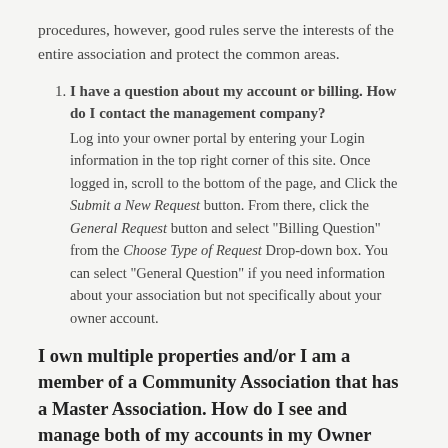procedures, however, good rules serve the interests of the entire association and protect the common areas.
I have a question about my account or billing. How do I contact the management company? Log into your owner portal by entering your Login information in the top right corner of this site. Once logged in, scroll to the bottom of the page, and Click the Submit a New Request button. From there, click the General Request button and select "Billing Question" from the Choose Type of Request Drop-down box. You can select "General Question" if you need information about your association but not specifically about your owner account.
I own multiple properties and/or I am a member of a Community Association that has a Master Association. How do I see and manage both of my accounts in my Owner Portal?